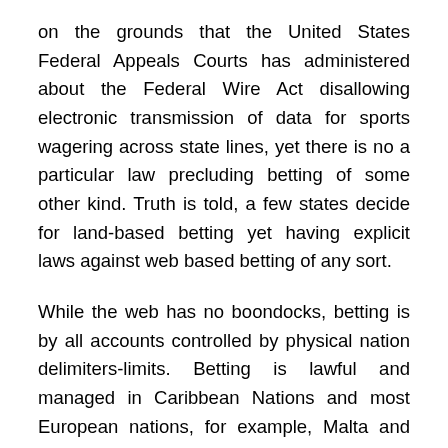on the grounds that the United States Federal Appeals Courts has administered about the Federal Wire Act disallowing electronic transmission of data for sports wagering across state lines, yet there is no a particular law precluding betting of some other kind. Truth is told, a few states decide for land-based betting yet having explicit laws against web based betting of any sort.
While the web has no boondocks, betting is by all accounts controlled by physical nation delimiters-limits. Betting is lawful and managed in Caribbean Nations and most European nations, for example, Malta and the United Kingdom from where wide varieties of online gambling site www.88 work. Be that as it may, in America, law says that possessing an online club or betting related business without getting a permit initially may result as an illicit demonstration, yet on the off chance that any individual